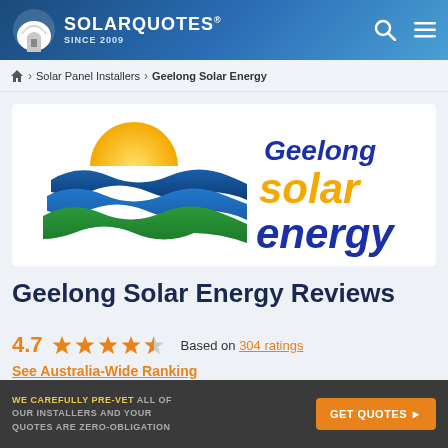SOLARQUOTES® SINCE 2009
Home > Solar Panel Installers > Geelong Solar Energy
[Figure (logo): Geelong Solar Energy company logo with sun and wave design, text reads 'Geelong solar energy']
Geelong Solar Energy Reviews
4.7 ★★★★½  Based on 304 ratings
See Australia-Wide Ranking
WE CAREFULLY PRE-VET ALL OF OUR INSTALLERS AND YOUR QUOTES ARE ZERO-OBLIGATION  GET QUOTES ▶